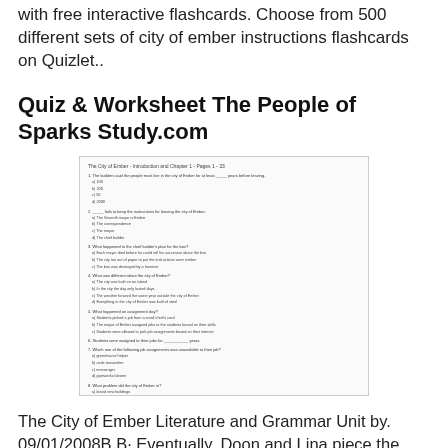with free interactive flashcards. Choose from 500 different sets of city of ember instructions flashcards on Quizlet..
Quiz & Worksheet The People of Sparks Study.com
[Figure (screenshot): A worksheet titled 'The City of Ember - Introduction and Chapter 1 - Pages 1 - 33' with multiple choice questions about the book.]
The City of Ember Literature and Grammar Unit by. 09/01/2008B B· Eventually, Doon and Lina piece the